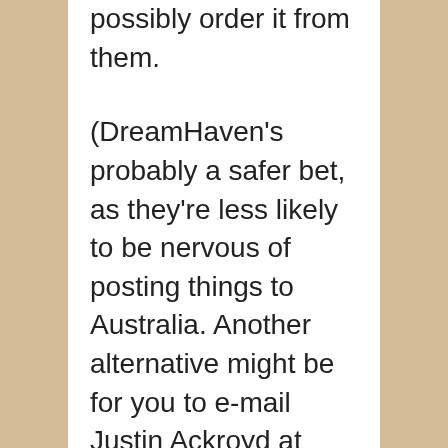possibly order it from them.

(DreamHaven's probably a safer bet, as they're less likely to be nervous of posting things to Australia. Another alternative might be for you to e-mail Justin Ackroyd at